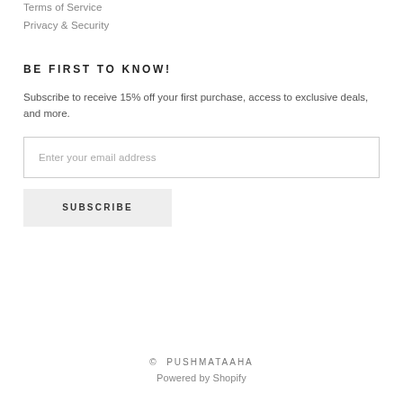Terms of Service
Privacy & Security
BE FIRST TO KNOW!
Subscribe to receive 15% off your first purchase, access to exclusive deals, and more.
Enter your email address
SUBSCRIBE
© PUSHMATAAHA
Powered by Shopify